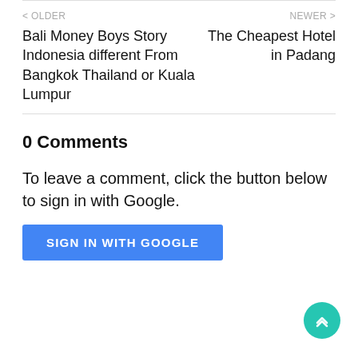< OLDER
Bali Money Boys Story Indonesia different From Bangkok Thailand or Kuala Lumpur
NEWER >
The Cheapest Hotel in Padang
0 Comments
To leave a comment, click the button below to sign in with Google.
SIGN IN WITH GOOGLE